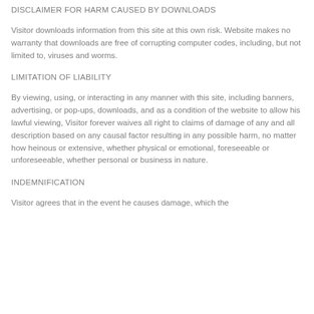DISCLAIMER FOR HARM CAUSED BY DOWNLOADS
Visitor downloads information from this site at this own risk. Website makes no warranty that downloads are free of corrupting computer codes, including, but not limited to, viruses and worms.
LIMITATION OF LIABILITY
By viewing, using, or interacting in any manner with this site, including banners, advertising, or pop-ups, downloads, and as a condition of the website to allow his lawful viewing, Visitor forever waives all right to claims of damage of any and all description based on any causal factor resulting in any possible harm, no matter how heinous or extensive, whether physical or emotional, foreseeable or unforeseeable, whether personal or business in nature.
INDEMNIFICATION
Visitor agrees that in the event he causes damage, which the